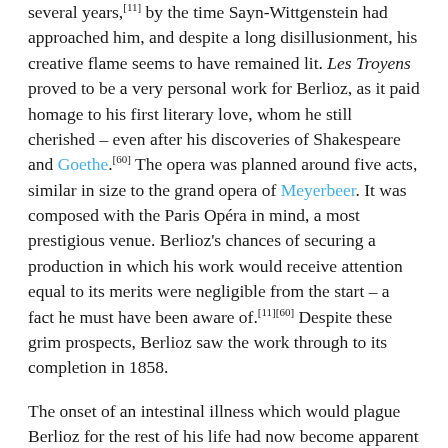several years,[11] by the time Sayn-Wittgenstein had approached him, and despite a long disillusionment, his creative flame seems to have remained lit. Les Troyens proved to be a very personal work for Berlioz, as it paid homage to his first literary love, whom he still cherished – even after his discoveries of Shakespeare and Goethe.[60] The opera was planned around five acts, similar in size to the grand opera of Meyerbeer. It was composed with the Paris Opéra in mind, a most prestigious venue. Berlioz's chances of securing a production in which his work would receive attention equal to its merits were negligible from the start – a fact he must have been aware of.[11][60] Despite these grim prospects, Berlioz saw the work through to its completion in 1858.

The onset of an intestinal illness which would plague Berlioz for the rest of his life had now become apparent to him.[4] During a visit to Baden-Baden, Edouard Bénazet commissioned a new opera from Berlioz, but due to the illness that opera was never written.[4] Two years later